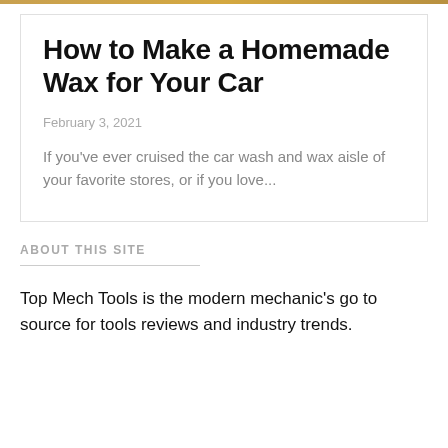[Figure (photo): Decorative top image strip in golden/amber color]
How to Make a Homemade Wax for Your Car
February 3, 2021
If you've ever cruised the car wash and wax aisle of your favorite stores, or if you love...
ABOUT THIS SITE
Top Mech Tools is the modern mechanic's go to source for tools reviews and industry trends.